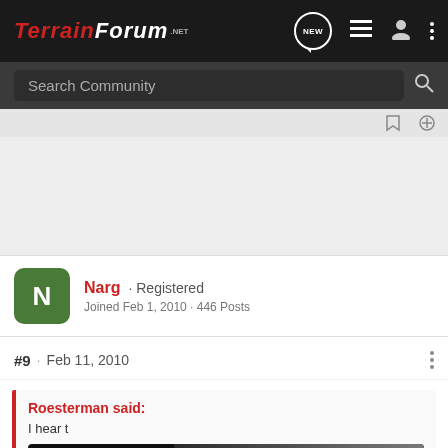TERRAIN FORUM .NET
Search Community
Narg · Registered
Joined Feb 1, 2010 · 446 Posts
#9 · Feb 11, 2010
Roesterman said:
I hear t...
Autom...
[Figure (screenshot): Nitto All-New Nomad Grappler Crossover-Terrain Tire advertisement banner with dark background, tire image, and Nitto logo]